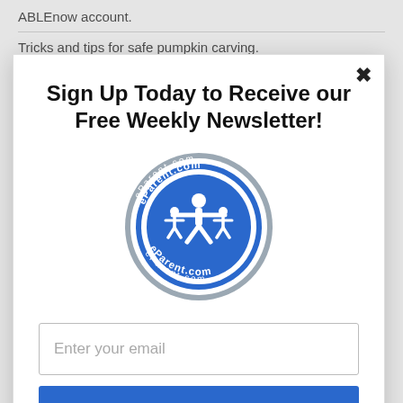ABLEnow account.
Tricks and tips for safe pumpkin carving.
Sign Up Today to Receive our Free Weekly Newsletter!
[Figure (logo): eParent.com circular logo with blue and grey colors, showing stylized family figures inside a circular emblem with text 'eParent.com' around the border]
Enter your email
Subscribe
powered by MailMunch